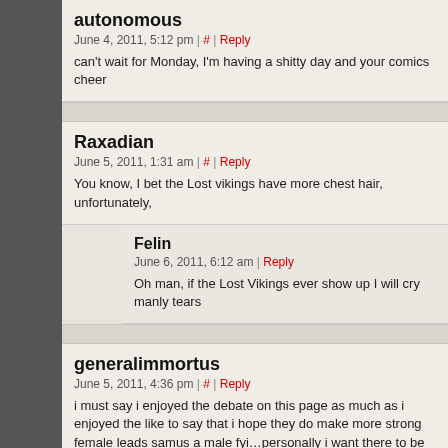autonomous
June 4, 2011, 5:12 pm | # | Reply
can't wait for Monday, I'm having a shitty day and your comics cheer
Raxadian
June 5, 2011, 1:31 am | # | Reply
You know, I bet the Lost vikings have more chest hair, unfortunately,
Felin
June 6, 2011, 6:12 am | Reply
Oh man, if the Lost Vikings ever show up I will cry manly tears
generalimmortus
June 5, 2011, 4:36 pm | # | Reply
i must say i enjoyed the debate on this page as much as i enjoyed the like to say that i hope they do make more strong female leads samus a male fyi…personally i want there to be more female gamers they te well hell i need somebody who shares my intrest and ill admit gaming share my drugs with :) if you read this whole thing ..thx lol